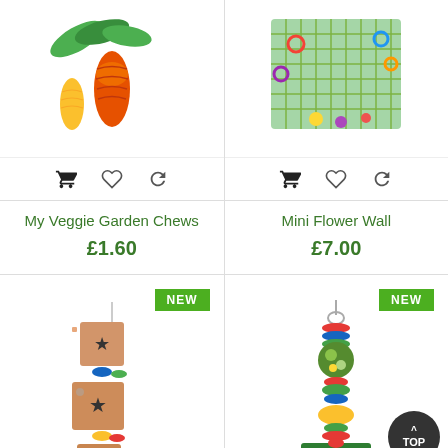[Figure (photo): My Veggie Garden Chews product image - colorful rope vegetables including corn and carrots]
[Figure (photo): Mini Flower Wall product image - woven net wall with colorful rings and pom-pom decorations]
My Veggie Garden Chews
£1.60
Mini Flower Wall
£7.00
[Figure (photo): Wooden block bird toy with star cutouts and colorful beads on a string, NEW badge]
[Figure (photo): Colorful bird toy with beads, wooden pieces, and bell on chain, NEW badge]